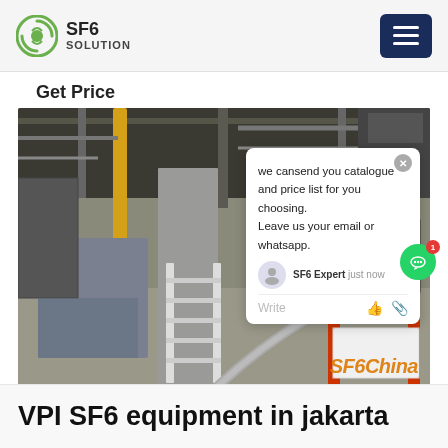SF6 SOLUTION
Get Price
[Figure (photo): Industrial facility interior showing SF6 gas equipment. Features metal piping, a curved conduit running along the floor, and an orange equipment cart/frame on the right side. Industrial machinery visible in the background. SF6China watermark in orange at bottom right.]
we cansend you catalogue and price list for you choosing.
Leave us your email or whatsapp.
VPI SF6 equipment in jakarta